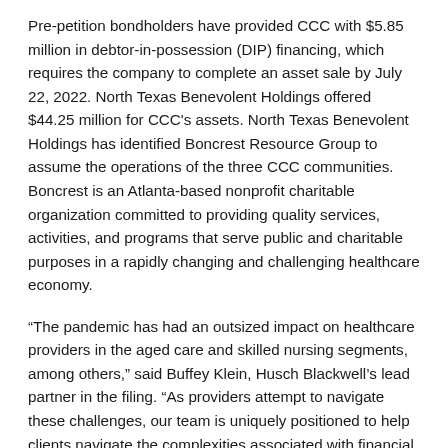Pre-petition bondholders have provided CCC with $5.85 million in debtor-in-possession (DIP) financing, which requires the company to complete an asset sale by July 22, 2022. North Texas Benevolent Holdings offered $44.25 million for CCC's assets. North Texas Benevolent Holdings has identified Boncrest Resource Group to assume the operations of the three CCC communities. Boncrest is an Atlanta-based nonprofit charitable organization committed to providing quality services, activities, and programs that serve public and charitable purposes in a rapidly changing and challenging healthcare economy.
“The pandemic has had an outsized impact on healthcare providers in the aged care and skilled nursing segments, among others,” said Buffey Klein, Husch Blackwell’s lead partner in the filing. “As providers attempt to navigate these challenges, our team is uniquely positioned to help clients navigate the complexities associated with financial hardship, health care regulatory compliance and corporate transactions in order to relaunch operations quickly and efficiently, serve patients and